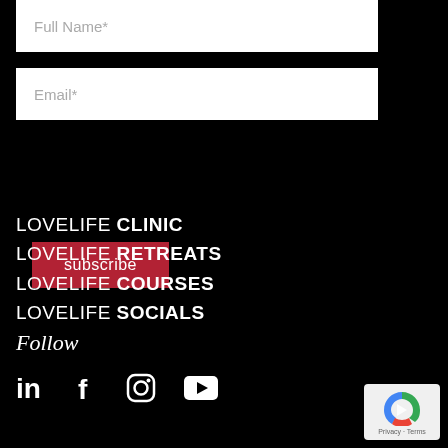Full Name*
Email*
subscribe
LOVELIFE CLINIC
LOVELIFE RETREATS
LOVELIFE COURSES
LOVELIFE SOCIALS
Follow
[Figure (other): Social media icons: LinkedIn, Facebook, Instagram, YouTube]
[Figure (other): reCAPTCHA badge with Privacy and Terms text]